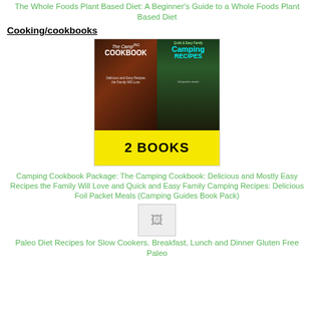The Whole Foods Plant Based Diet: A Beginner's Guide to a Whole Foods Plant Based Diet
Cooking/cookbooks
[Figure (illustration): Book cover image showing 'The Camping Cookbook' on the left half with food on a grill, and 'Quick & Easy Family Camping Recipes' on the right half with foil packet meals, combined as '2 BOOKS' in yellow strip at bottom.]
Camping Cookbook Package: The Camping Cookbook: Delicious and Mostly Easy Recipes the Family Will Love and Quick and Easy Family Camping Recipes: Delicious Foil Packet Meals (Camping Guides Book Pack)
[Figure (illustration): Broken/missing image placeholder icon]
Paleo Diet Recipes for Slow Cookers. Breakfast, Lunch and Dinner Gluten Free Paleo